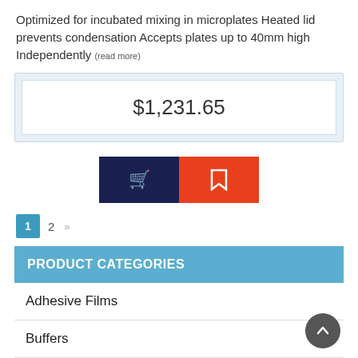Optimized for incubated mixing in microplates Heated lid prevents condensation Accepts plates up to 40mm high Independently (read more)
$1,231.65
[Figure (other): Add to cart button (dark navy) and save/bookmark button (orange-red)]
1  2  »
PRODUCT CATEGORIES
Adhesive Films
Buffers